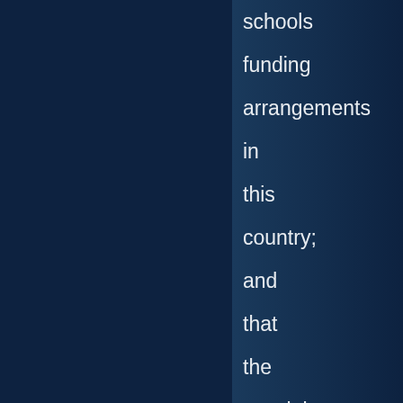schools funding arrangements in this country; and that the special deals which have bedevilled them for years are well and truly back